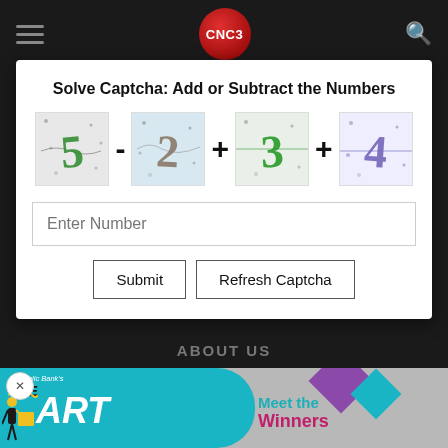CNC3
Solve Captcha: Add or Subtract the Numbers
[Figure (screenshot): CAPTCHA challenge showing four distorted numbers: 5, 2, 3, 4 with operators - + + between them]
Enter Number
Submit | Refresh Captcha
ABOUT US
[Figure (illustration): Advertisement banner: Republic Bank's The Art competition - Meet the Winners with teal and purple diamond shapes]